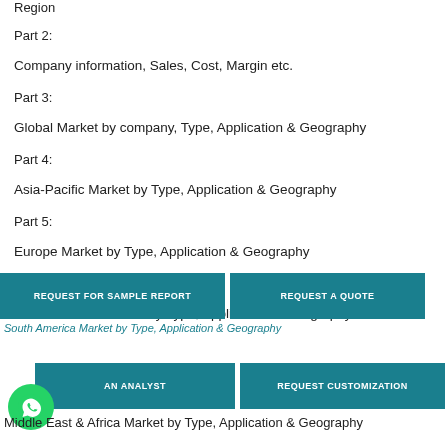Region
Part 2:
Company information, Sales, Cost, Margin etc.
Part 3:
Global Market by company, Type, Application & Geography
Part 4:
Asia-Pacific Market by Type, Application & Geography
Part 5:
Europe Market by Type, Application & Geography
Part 6:
North America Market by Type, Application & Geography
South America Market by Type, Application & Geography
Middle East & Africa Market by Type, Application & Geography